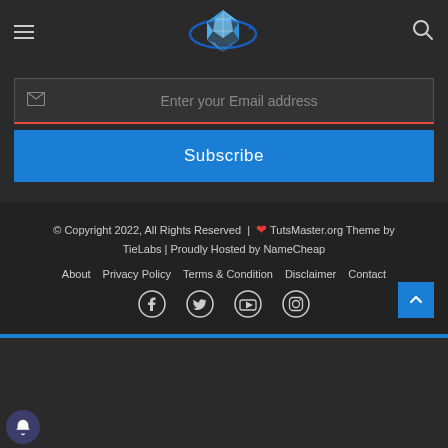[Figure (logo): TutsMaster.org logo: a blue crystal/diamond brain globe with an orbit ring around it, in dark header bar with hamburger menu on left and search icon on right]
Enter your Email address
Subscribe
© Copyright 2022, All Rights Reserved | ❤ TutsMaster.org Theme by TieLabs | Proudly Hosted by NameCheap
About  Privacy Policy  Terms & Condition  Disclaimer  Contact